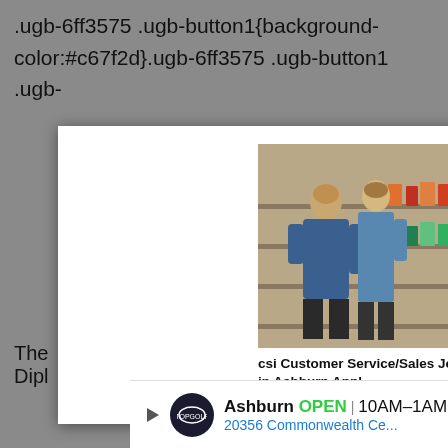.ugb-6ff3575 .ugb-button1{background-color:#c67f2d}.ugb-6ff3575 .ugb-button1 .ugb-
[Figure (screenshot): Modal popup ad showing two ad cards: 'csi Customer Service/Sales Jobs in Ashburn Appl...' from jobble.com with grocery store photo, and '6 Best Money Making Apps of 2022 That Actua...' from Appurse with money/cash photo. A black X close button in top right corner.]
[Figure (screenshot): Black error overlay reading 'The media could not be loaded, either because the server or network failed or because the' with a white X icon overlaid in the center.]
The Dipl
[Figure (screenshot): Bottom ad bar for Topgolf Ashburn showing OPEN 10AM-1AM, 20356 Commonwealth Ce... with logo and navigation arrow badge.]